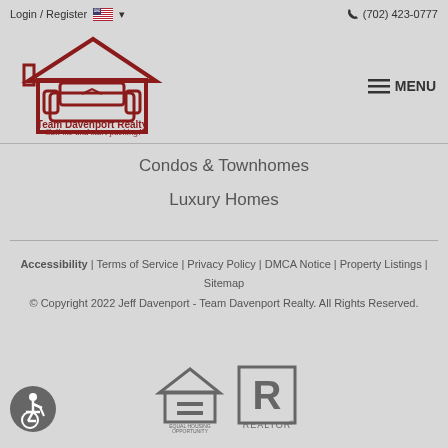Login / Register  (702) 423-0777
[Figure (logo): Team Davenport Realty logo with house and armchair icon, text: Team Davenport Realty, Call me and start packing!]
MENU
Condos & Townhomes
Luxury Homes
Accessibility | Terms of Service | Privacy Policy | DMCA Notice | Property Listings | Sitemap
© Copyright 2022 Jeff Davenport - Team Davenport Realty. All Rights Reserved.
[Figure (logo): Equal Housing Opportunity logo]
[Figure (logo): REALTOR logo]
[Figure (illustration): Accessibility wheelchair icon (white on dark circle)]